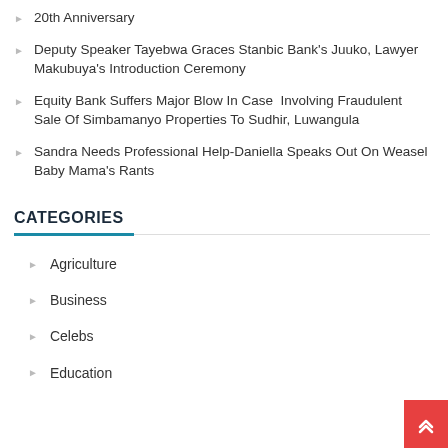20th Anniversary
Deputy Speaker Tayebwa Graces Stanbic Bank’s Juuko, Lawyer Makubuya’s Introduction Ceremony
Equity Bank Suffers Major Blow In Case Involving Fraudulent Sale Of Simbamanyo Properties To Sudhir, Luwangula
Sandra Needs Professional Help-Daniella Speaks Out On Weasel Baby Mama’s Rants
CATEGORIES
Agriculture
Business
Celebs
Education